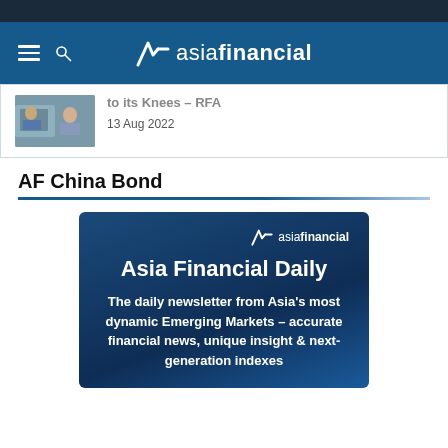asia financial — navigation header
[Figure (screenshot): Partial article teaser with thumbnail image showing people and date '13 Aug 2022']
AF China Bond
[Figure (infographic): Asia Financial Daily newsletter promotional card on dark blue background with logo, title 'Asia Financial Daily', and tagline 'The daily newsletter from Asia's most dynamic Emerging Markets – accurate financial news, unique insight & next-generation indexes']